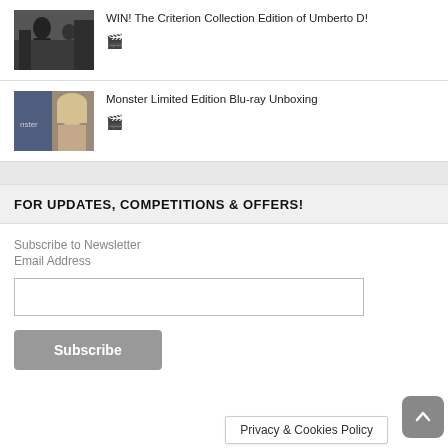WIN! The Criterion Collection Edition of Umberto D!
Monster Limited Edition Blu-ray Unboxing
FOR UPDATES, COMPETITIONS & OFFERS!
Subscribe to Newsletter
Email Address
Subscribe
Privacy & Cookies Policy